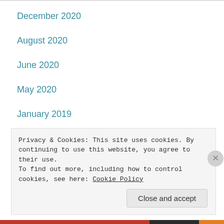December 2020
August 2020
June 2020
May 2020
January 2019
November 2017
Privacy & Cookies: This site uses cookies. By continuing to use this website, you agree to their use.
To find out more, including how to control cookies, see here: Cookie Policy
Close and accept